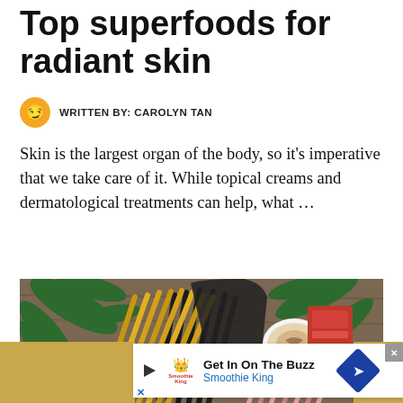Top superfoods for radiant skin
WRITTEN BY: CAROLYN TAN
Skin is the largest organ of the body, so it's imperative that we take care of it. While topical creams and dermatological treatments can help, what ...
[Figure (photo): Overhead flatlay photo showing colourful straws, pine branches, a cup of coffee, and packaged products on a wooden background]
[Figure (other): Advertisement banner: Get In On The Buzz - Smoothie King, with play button, logo, and navigation icon]